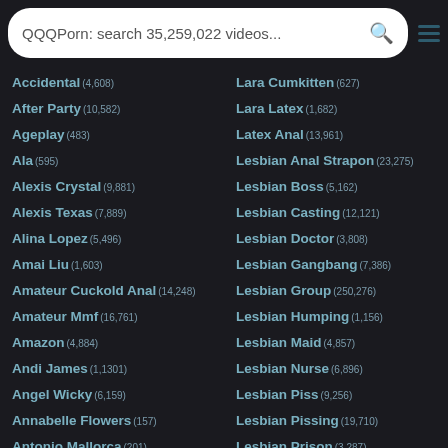QQQPorn: search 35,259,022 videos...
Accidental (4,608)
After Party (10,582)
Ageplay (483)
Ala (595)
Alexis Crystal (9,881)
Alexis Texas (7,889)
Alina Lopez (5,496)
Amai Liu (1,603)
Amateur Cuckold Anal (14,248)
Amateur Mmf (16,761)
Amazon (4,884)
Andi James (1,1301)
Angel Wicky (6,159)
Annabelle Flowers (157)
Antonio Mallorca (201)
Lara Cumkitten (627)
Lara Latex (1,682)
Latex Anal (13,961)
Lesbian Anal Strapon (23,275)
Lesbian Boss (5,162)
Lesbian Casting (12,121)
Lesbian Doctor (3,808)
Lesbian Gangbang (7,386)
Lesbian Group (250,276)
Lesbian Humping (1,156)
Lesbian Maid (4,857)
Lesbian Nurse (6,896)
Lesbian Piss (9,256)
Lesbian Pissing (19,710)
Lesbian Prison (3,287)